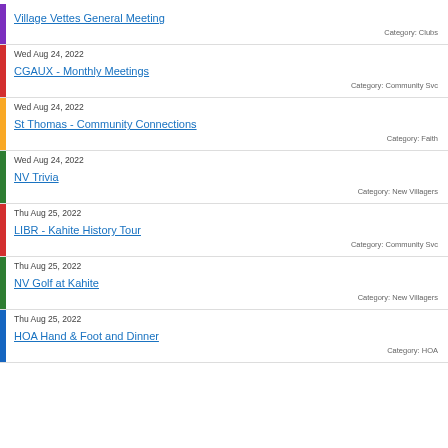Village Vettes General Meeting | Category: Clubs
Wed Aug 24, 2022 | CGAUX - Monthly Meetings | Category: Community Svc
Wed Aug 24, 2022 | St Thomas - Community Connections | Category: Faith
Wed Aug 24, 2022 | NV Trivia | Category: New Villagers
Thu Aug 25, 2022 | LIBR - Kahite History Tour | Category: Community Svc
Thu Aug 25, 2022 | NV Golf at Kahite | Category: New Villagers
Thu Aug 25, 2022 | HOA Hand & Foot and Dinner | Category: HOA